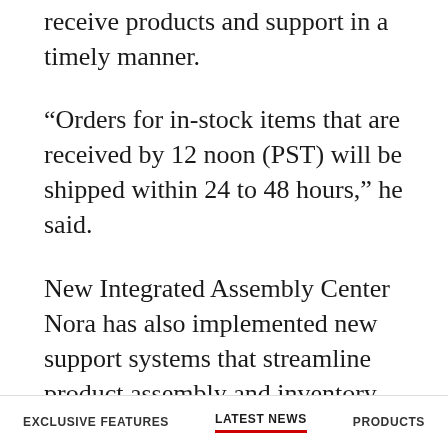receive products and support in a timely manner.
“Orders for in-stock items that are received by 12 noon (PST) will be shipped within 24 to 48 hours,” he said.
New Integrated Assembly Center
Nora has also implemented new support systems that streamline product assembly and inventory management.
“Nora’s new Integrated Assembly Center at our Commerce headquarters is fully operational and is designed for quick response
EXCLUSIVE FEATURES   LATEST NEWS   PRODUCTS